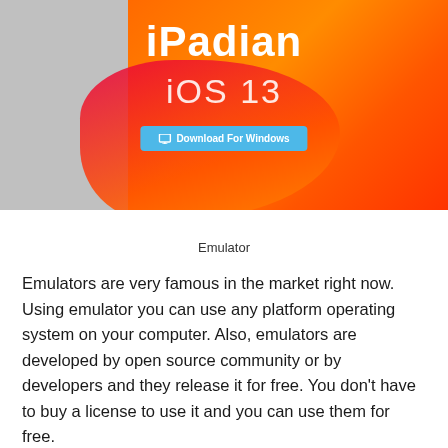[Figure (screenshot): iPadian iOS 13 emulator website hero banner with orange/red gradient background, gray left area, title 'iPadian', subtitle 'iOS 13', and a blue 'Download For Windows' button]
Emulator
Emulators are very famous in the market right now. Using emulator you can use any platform operating system on your computer. Also, emulators are developed by open source community or by developers and they release it for free. You don’t have to buy a license to use it and you can use them for free.